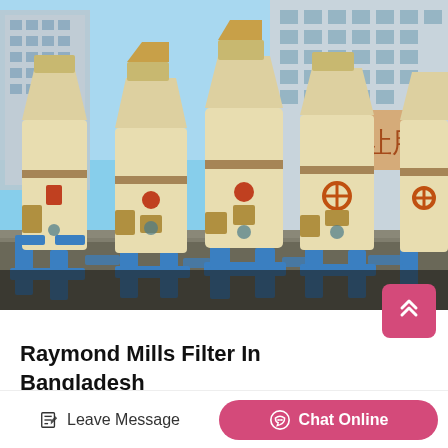[Figure (photo): Multiple Raymond mill machines (large cream/yellow colored industrial grinding mills) on blue metal frames, staged outdoors in a factory yard with buildings and blue sky in the background. Chinese text visible on a building in the background.]
Raymond Mills Filter In Bangladesh
Leave Message
Chat Online